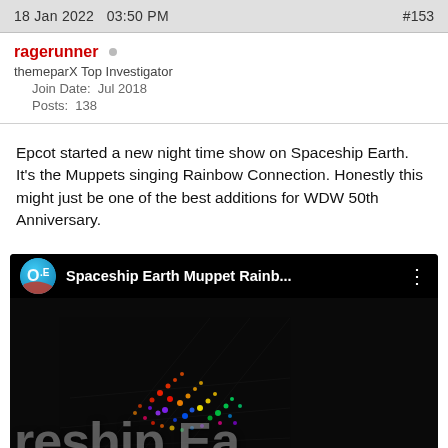18 Jan 2022   03:50 PM   #153
ragerunner ○
themeparX Top Investigator
Join Date: Jul 2018
Posts: 138
Epcot started a new night time show on Spaceship Earth. It's the Muppets singing Rainbow Connection. Honestly this might just be one of the best additions for WDW 50th Anniversary.
[Figure (screenshot): YouTube video embed showing 'Spaceship Earth Muppet Rainb...' with a dark thumbnail showing colorful lights on Spaceship Earth geodesic sphere and partial text overlay reading 'reship Ea']